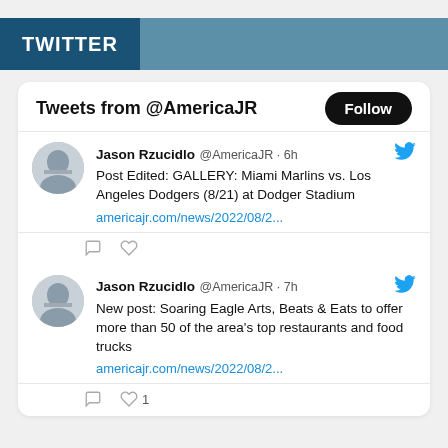TWITTER
Tweets from @AmericaJR
Jason Rzucidlo @AmericaJR · 6h
Post Edited: GALLERY: Miami Marlins vs. Los Angeles Dodgers (8/21) at Dodger Stadium
americajr.com/news/2022/08/2...
Jason Rzucidlo @AmericaJR · 7h
New post: Soaring Eagle Arts, Beats & Eats to offer more than 50 of the area's top restaurants and food trucks
americajr.com/news/2022/08/2...